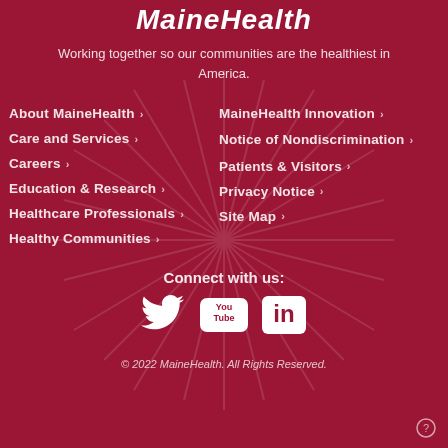MaineHealth
Working together so our communities are the healthiest in America.
About MaineHealth >
Care and Services >
Careers >
Education & Research >
Healthcare Professionals >
Healthy Communities >
MaineHealth Innovation >
Notice of Nondiscrimination >
Patients & Visitors >
Privacy Notice >
Site Map >
Connect with us:
[Figure (logo): Social media icons: Twitter bird, YouTube logo, LinkedIn logo]
© 2022 MaineHealth. All Rights Reserved.